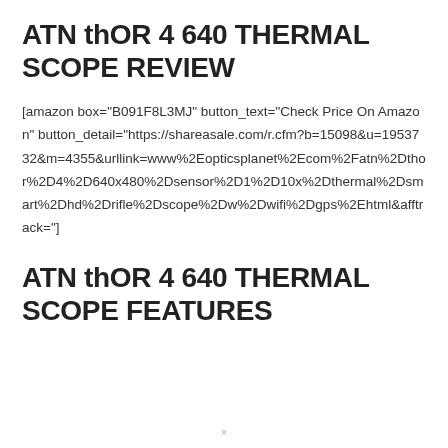ATN thOR 4 640 THERMAL SCOPE REVIEW
[amazon box="B091F8L3MJ" button_text="Check Price On Amazon" button_detail="https://shareasale.com/r.cfm?b=15098&u=1953732&m=4355&urllink=www%2Eopticsplanet%2Ecom%2Fatn%2Dthor%2D4%2D640x480%2Dsensor%2D1%2D10x%2Dthermal%2Dsmart%2Dhd%2Drifle%2Dscope%2Dw%2Dwifi%2Dgps%2Ehtml&afftrack="]
ATN thOR 4 640 THERMAL SCOPE FEATURES